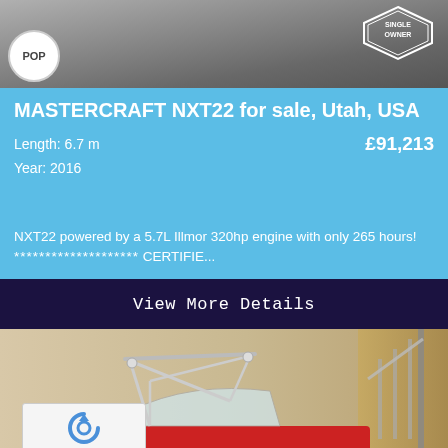[Figure (photo): Top portion of a boat listing photo, dark/grey background with POP badge on left and SINGLE OWNER badge on right]
MASTERCRAFT NXT22 for sale, Utah, USA
Length: 6.7 m
Year: 2016
£91,213
NXT22 powered by a 5.7L Illmor 320hp engine with only 265 hours! ******************** CERTIFIE...
View More Details
[Figure (photo): Red Mastercraft NXT22 boat stored indoors, with wakeboard tower visible, in a room with beige walls and staircase railing on the right. reCAPTCHA widget visible in bottom-left corner.]